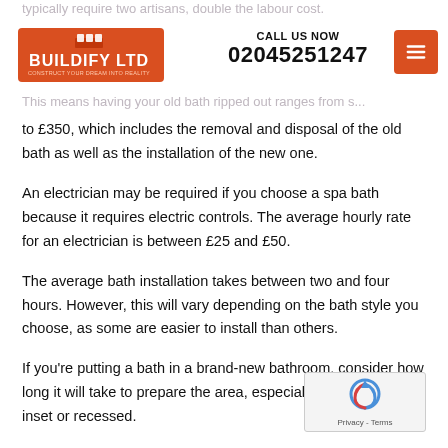Buildify Ltd — CALL US NOW 02045251247
typically require two artisans, double the labour cost.
This means having your old bath ripped out ranges from s... to £350, which includes the removal and disposal of the old bath as well as the installation of the new one.
An electrician may be required if you choose a spa bath because it requires electric controls. The average hourly rate for an electrician is between £25 and £50.
The average bath installation takes between two and four hours. However, this will vary depending on the bath style you choose, as some are easier to install than others.
If you're putting a bath in a brand-new bathroom, consider how long it will take to prepare the area, especially if the bath is inset or recessed.
It will take longer to dig out and build a location to fit the... The process may take a bit longer if any pipes or electr... need to be shifted, but it shouldn't take more than one day.